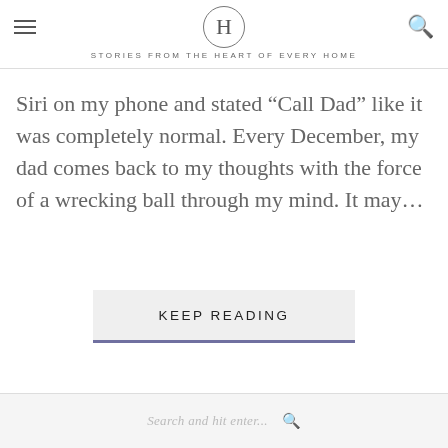H — STORIES FROM THE HEART OF EVERY HOME
Siri on my phone and stated “Call Dad” like it was completely normal. Every December, my dad comes back to my thoughts with the force of a wrecking ball through my mind. It may…
KEEP READING
Search and hit enter...